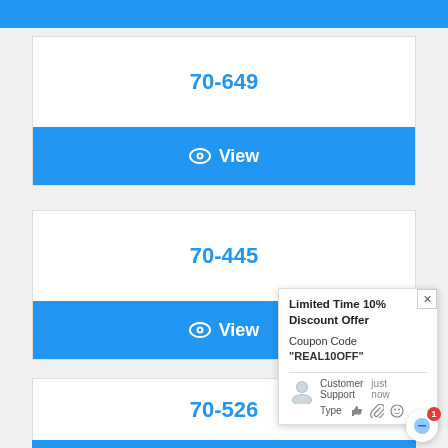[Figure (screenshot): Top blue navigation bar, partially visible at top of page]
70-649
View
70-445
View
[Figure (infographic): Popup overlay with Limited Time 10% Discount Offer, Coupon Code REAL10OFF, Customer Support chat widget with thumbs up, paperclip, and emoji icons]
70-526
View